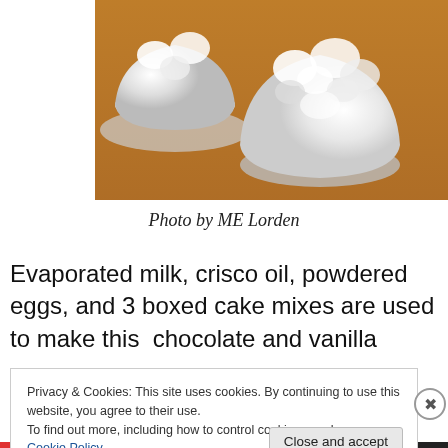[Figure (photo): Two white-frosted cakes on a wooden surface, viewed from above]
Photo by ME Lorden
Evaporated milk, crisco oil, powdered eggs, and 3 boxed cake mixes are used to make this  chocolate and vanilla
Privacy & Cookies: This site uses cookies. By continuing to use this website, you agree to their use.
To find out more, including how to control cookies, see here: Cookie Policy